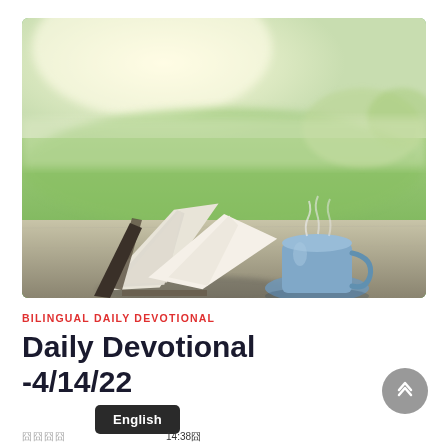[Figure (photo): An open book and a steaming blue coffee cup on a wooden table with a blurred green field and bright sky in the background.]
BILINGUAL DAILY DEVOTIONAL
Daily Devotional -4/14/22
囧囧囧囧 English 囧囧囧囧囧囧囧囧囧囧囧囧囧囧囧囧囧囧囧囧囧14:38囧
Jesus _____________________ the text says will not fall into